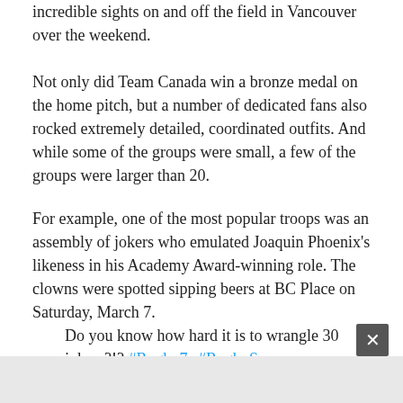incredible sights on and off the field in Vancouver over the weekend.
Not only did Team Canada win a bronze medal on the home pitch, but a number of dedicated fans also rocked extremely detailed, coordinated outfits. And while some of the groups were small, a few of the groups were larger than 20.
For example, one of the most popular troops was an assembly of jokers who emulated Joaquin Phoenix's likeness in his Academy Award-winning role. The clowns were spotted sipping beers at BC Place on Saturday, March 7.
Do you know how hard it is to wrangle 30 jokers?!? #Rugby7s #RugbySevens @OffsideDH
twitter.com/status/...